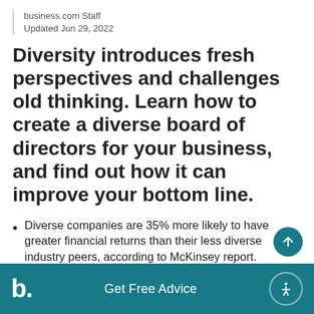business.com Staff
Updated Jun 29, 2022
Diversity introduces fresh perspectives and challenges old thinking. Learn how to create a diverse board of directors for your business, and find out how it can improve your bottom line.
Diverse companies are 35% more likely to have greater financial returns than their less diverse industry peers, according to McKinsey report.
b. Get Free Advice